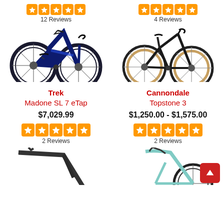[Figure (other): Orange star rating (5 stars) for top-left product, 12 Reviews]
12 Reviews
[Figure (other): Orange star rating (5 stars) for top-right product, 4 Reviews]
4 Reviews
[Figure (photo): Trek Madone SL 7 eTap road bike in dark blue color]
[Figure (photo): Cannondale Topstone 3 gravel bike in dark/black color with tan sidewall tires]
Trek
Madone SL 7 eTap
$7,029.99
[Figure (other): Orange star rating (5 stars), 2 Reviews]
2 Reviews
Cannondale
Topstone 3
$1,250.00 - $1,575.00
[Figure (other): Orange star rating (5 stars), 2 Reviews]
2 Reviews
[Figure (photo): Partial view of a dark road/gravel bike frame (bottom of page)]
[Figure (photo): Partial view of a teal/mint colored road bike (bottom of page)]